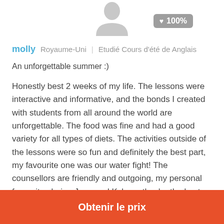[Figure (illustration): Gray silhouette avatar of a person (head and shoulders) with a gray badge showing a heart icon and '100%']
molly  Royaume-Uni  |  Etudié Cours d'été de Anglais
An unforgettable summer :)
Honestly best 2 weeks of my life. The lessons were interactive and informative, and the bonds I created with students from all around the world are unforgettable. The food was fine and had a good variety for all types of diets. The activities outside of the lessons were so fun and definitely the best part, my favourite one was our water fight! The counsellors are friendly and outgoing, my personal favourites being Juan and Kylene, they're the best. Accommodation was really great too! I was in a single room but some had doubles. Bathrooms were well equipped and
Obtenir le prix